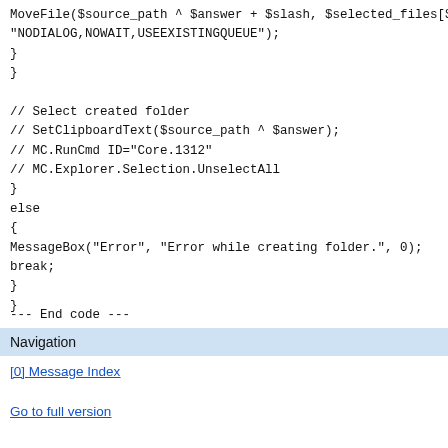MoveFile($source_path ^ $answer + $slash, $selected_files[$n],
"NODIALOG,NOWAIT,USEEXISTINGQUEUE");
}
}

// Select created folder
// SetClipboardText($source_path ^ $answer);
// MC.RunCmd ID="Core.1312"
// MC.Explorer.Selection.UnselectAll
}
else
{
MessageBox("Error", "Error while creating folder.", 0);
break;
}
}
--- End code ---
Navigation
[0] Message Index
Go to full version